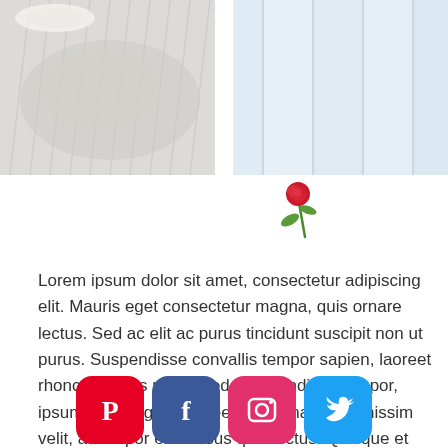[Figure (photo): Left photo: striped fabric/textile on a white background, overhead view]
[Figure (photo): Right photo: light blue/white wooden planks or slats]
[Figure (illustration): Small red rose with green stem decoration]
Lorem ipsum dolor sit amet, consectetur adipiscing elit. Mauris eget consectetur magna, quis ornare lectus. Sed ac elit ac purus tincidunt suscipit non ut purus. Suspendisse convallis tempor sapien, laoreet rhoncus lectus mattis sed. Suspendisse tempor, ipsum eget sagittis laoreet, justo magna dignissim velit, at tempor enim risus quis lectus. Quisque et arcu velit. Duis tristique porttitor risus bibendum rutrum. Donec euismod sem mi, eget varius metus vestibulum efficitur. Pellentesque at commodo velit. Vestibulum at tempus orci.
[Figure (illustration): Small red rose with green stem inline in text]
[Figure (infographic): Social media share buttons: Pinterest (red), Facebook (blue), Instagram (pink/red), Twitter (light blue)]